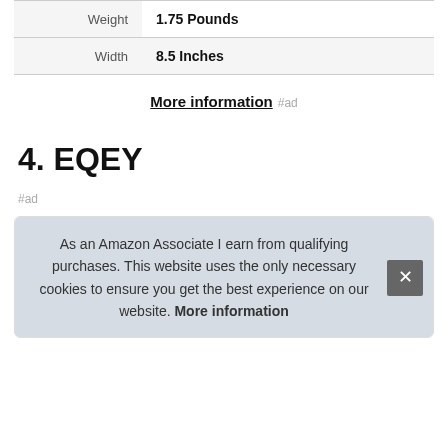| Weight | 1.75 Pounds |
| Width | 8.5 Inches |
More information #ad
4. EQEY
#ad
As an Amazon Associate I earn from qualifying purchases. This website uses the only necessary cookies to ensure you get the best experience on our website. More information
[Figure (photo): Product images shown partially at bottom of page]